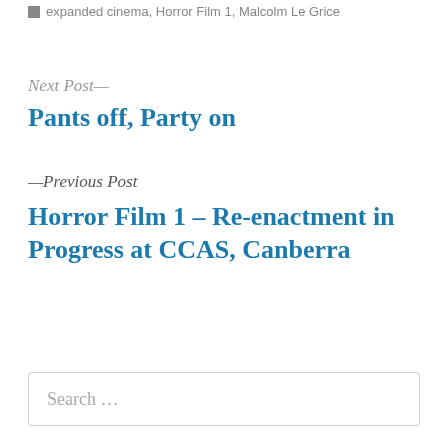expanded cinema, Horror Film 1, Malcolm Le Grice
Next Post—
Pants off, Party on
—Previous Post
Horror Film 1 – Re-enactment in Progress at CCAS, Canberra
Search …